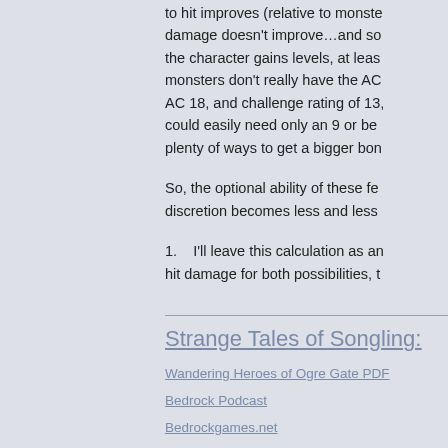to hit improves (relative to monster), damage doesn't improve…and so the character gains levels, at least monsters don't really have the AC 18, and challenge rating of 13, could easily need only an 9 or be plenty of ways to get a bigger bon
So, the optional ability of these fe discretion becomes less and less
1.    I'll leave this calculation as an hit damage for both possibilities, t
Strange Tales of Songling:
Wandering Heroes of Ogre Gate PDF
Bedrock Podcast
Bedrockgames.net
Bedrock Blog
Arrows of Indra